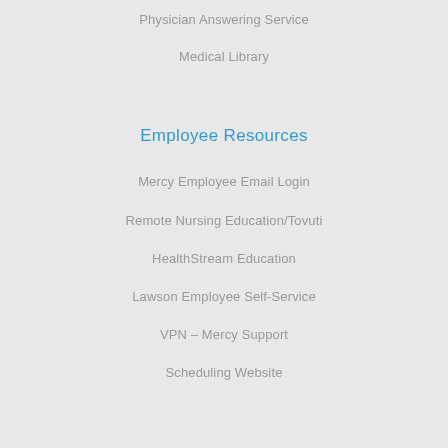Physician Answering Service
Medical Library
Employee Resources
Mercy Employee Email Login
Remote Nursing Education/Tovuti
HealthStream Education
Lawson Employee Self-Service
VPN – Mercy Support
Scheduling Website